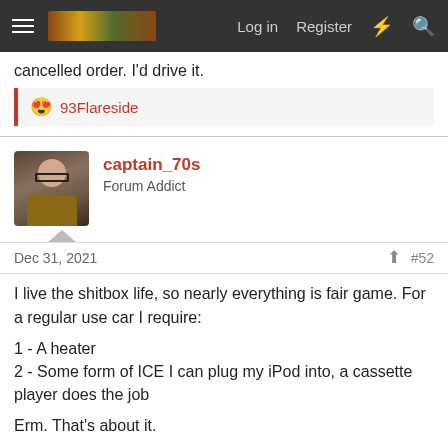Log in  Register
cancelled order. I'd drive it.
😍 93Flareside
captain_70s
Forum Addict
Dec 31, 2021  #52
I live the shitbox life, so nearly everything is fair game. For a regular use car I require:
1 - A heater
2 - Some form of ICE I can plug my iPod into, a cassette player does the job
Erm. That's about it.
Things that I'd really like: